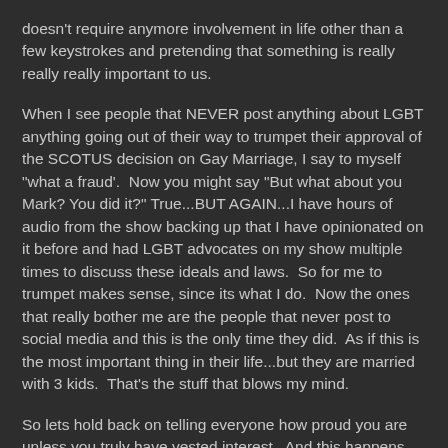doesn't require anymore involvement in life other than a few keystrokes and pretending that something is really really really important to us.
When I see people that NEVER post anything about LGBT anything going out of their way to trumpet their approval of the SCOTUS decision on Gay Marriage, I say to myself "what a fraud'.  Now you might say "But what about you Mark? You did it?" True...BUT AGAIN...I have hours of audio from the show backing up that I have opinionated on it before and had LGBT advocates on my show multiple times to discuss these ideals and laws.  So for me to trumpet makes sense, since its what I do.  Now the ones that really bother me are the people that never post to social media and this is the only time they did.  As if this is the most important thing in their life...but they are married with 3 kids.  That's the stuff that blows my mind.
So lets hold back on telling everyone how proud you are unless you truly have vested interest.  And this happens on multiple topics.  The confederate flag discussion (Yep!), the Ferguson